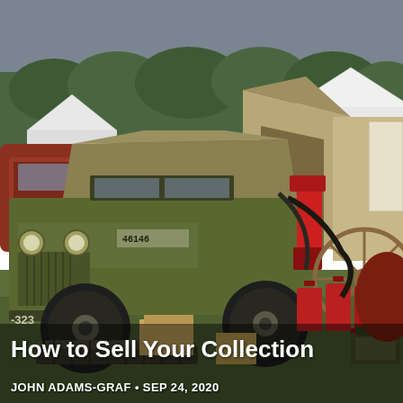[Figure (photo): Outdoor military surplus and antique vehicle show. Center: an olive-drab WWII-era Willys Jeep (marked '46146' and '-323') with canvas top. Behind it a khaki canvas tent/canopy booth. Foreground has scattered vintage military items: red gas cans, a wagon wheel, cardboard boxes, tank tracks, hoses. Background shows white event tents, green trees under an overcast sky. On the left is a red vintage car partially visible.]
How to Sell Your Collection
JOHN ADAMS-GRAF • SEP 24, 2020